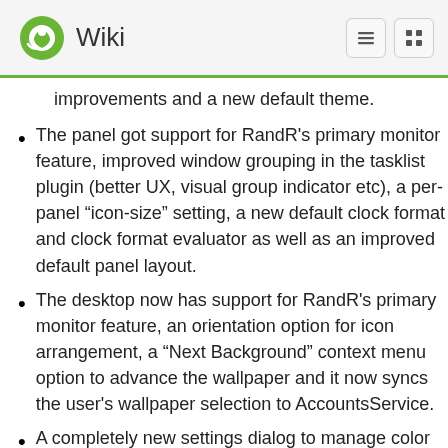Wiki
improvements and a new default theme.
The panel got support for RandR's primary monitor feature, improved window grouping in the tasklist plugin (better UX, visual group indicator etc), a per-panel “icon-size” setting, a new default clock format and clock format evaluator as well as an improved default panel layout.
The desktop now has support for RandR's primary monitor feature, an orientation option for icon arrangement, a “Next Background” context menu option to advance the wallpaper and it now syncs the user's wallpaper selection to AccountsService.
A completely new settings dialog to manage color profiles has been created. For most users this means out of the box support for color-managed printing (through cupsd) and scanning (through saned). For monitor profiles you will have to install an additional